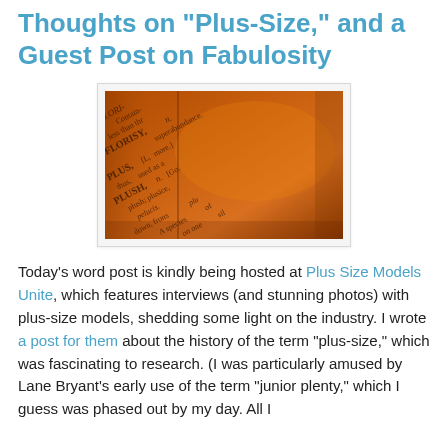Thoughts on "Plus-Size," and a Guest Post on Fabulosity
[Figure (photo): Close-up photograph of an old dictionary page with an orange/amber tint, showing entries including FLORISY, PLUS, PLUSH, plush, pelucis, and partial text from a vintage dictionary.]
Today's word post is kindly being hosted at Plus Size Models Unite, which features interviews (and stunning photos) with plus-size models, shedding some light on the industry. I wrote a post for them about the history of the term "plus-size," which was fascinating to research. (I was particularly amused by Lane Bryant's early use of the term "junior plenty," which I guess was phased out by my day. All I